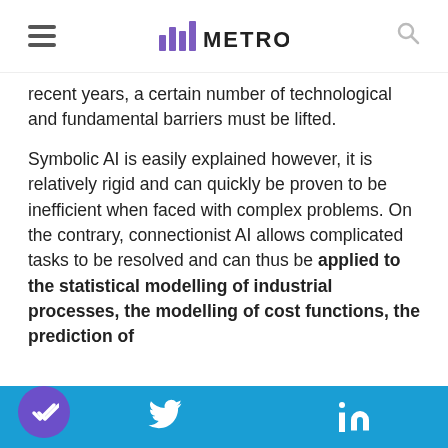METRON
recent years, a certain number of technological and fundamental barriers must be lifted.
Symbolic AI is easily explained however, it is relatively rigid and can quickly be proven to be inefficient when faced with complex problems. On the contrary, connectionist AI allows complicated tasks to be resolved and can thus be applied to the statistical modelling of industrial processes, the modelling of cost functions, the prediction of